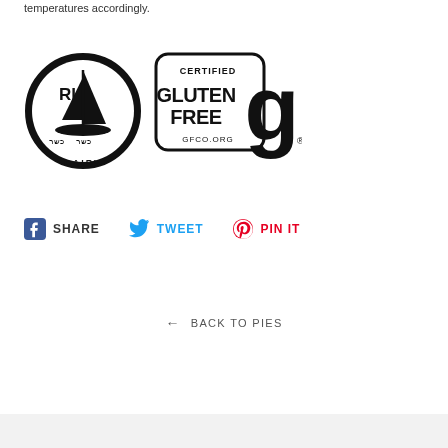temperatures accordingly.
[Figure (logo): RI Kosher Dairy certification logo (circular black and white badge with Hebrew text and sailboat) alongside Certified Gluten Free GFCO.org logo (rounded rectangle with stylized 'g')]
SHARE   TWEET   PIN IT
← BACK TO PIES